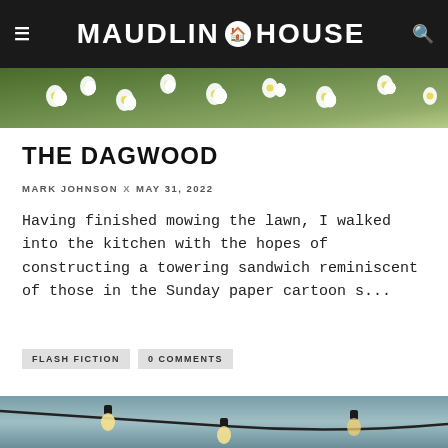MAUDLIN HOUSE
[Figure (photo): Outdoor photo of white daisy flowers with green foliage background]
THE DAGWOOD
MARK JOHNSON  x  MAY 31, 2022
Having finished mowing the lawn, I walked into the kitchen with the hopes of constructing a towering sandwich reminiscent of those in the Sunday paper cartoon s...
FLASH FICTION
0 COMMENTS
[Figure (photo): Photo of string lights hanging against a blue-grey sky]